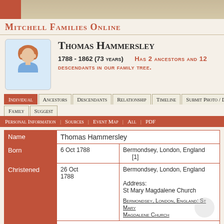Mitchell Families Online
Thomas Hammersley
1788 - 1862 (73 years) Has 2 ancestors and 12 descendants in our family tree.
| Field | Date | Place/Info |
| --- | --- | --- |
| Name | Thomas Hammersley |  |
| Born | 6 Oct 1788 | Bermondsey, London, England [1] |
| Christened | 26 Oct 1788 | Bermondsey, London, England
Address: St Mary Magdalene Church
Bermondsey, London, England: St Mary Magdalene Church |
| Gender | Male |  |